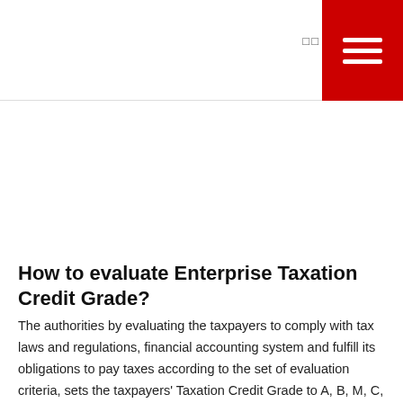□□
How to evaluate Enterprise Taxation Credit Grade?
The authorities by evaluating the taxpayers to comply with tax laws and regulations, financial accounting system and fulfill its obligations to pay taxes according to the set of evaluation criteria, sets the taxpayers' Taxation Credit Grade to A, B, M, C, D. The higher grade you have, the more convenience you can enjoy.